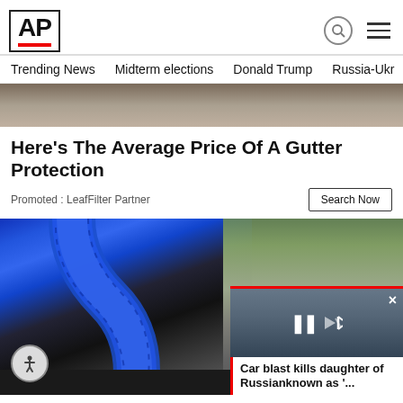AP
Trending News  Midterm elections  Donald Trump  Russia-Ukr
[Figure (photo): Top partial image of outdoor scene, brown and tan tones]
Here's The Average Price Of A Gutter Protection
Promoted : LeafFilter Partner
Search Now
[Figure (photo): Blue ribbed hose/tube bent over a dark gutter filled with debris; right side shows outdoor scene with people in military gear on road]
Car blast kills daughter of Russianknown as '...